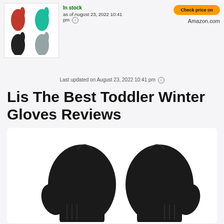[Figure (photo): Product image showing toddler mittens in four colors: red, teal/blue, black, and gray, arranged in a grid on white background]
In stock
as of August 23, 2022 10:41 pm ⓘ
[Figure (logo): Amazon.com button and logo]
Last updated on August 23, 2022 10:41 pm ⓘ
Lis The Best Toddler Winter Gloves Reviews
[Figure (photo): Photo of a pair of black toddler winter mittens/gloves shown from above on white background]